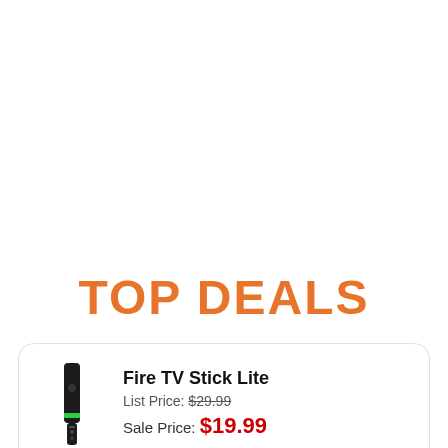TOP DEALS
Fire TV Stick Lite
List Price: $29.99
Sale Price: $19.99
Fire TV Stick
List Price: $39.99